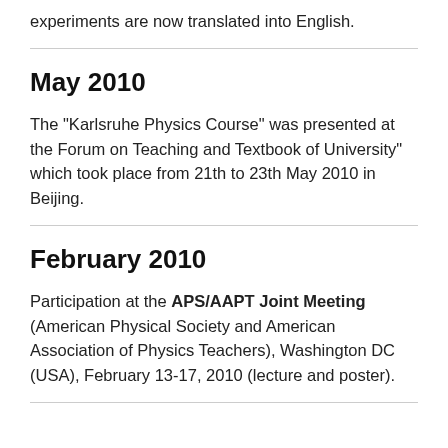experiments are now translated into English.
May 2010
The "Karlsruhe Physics Course" was presented at the Forum on Teaching and Textbook of University" which took place from 21th to 23th May 2010 in Beijing.
February 2010
Participation at the APS/AAPT Joint Meeting (American Physical Society and American Association of Physics Teachers), Washington DC (USA), February 13-17, 2010 (lecture and poster).